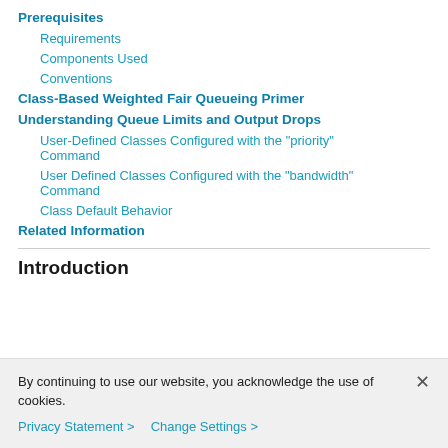Prerequisites
Requirements
Components Used
Conventions
Class-Based Weighted Fair Queueing Primer
Understanding Queue Limits and Output Drops
User-Defined Classes Configured with the "priority" Command
User Defined Classes Configured with the "bandwidth" Command
Class Default Behavior
Related Information
Introduction
By continuing to use our website, you acknowledge the use of cookies.
Privacy Statement > Change Settings >